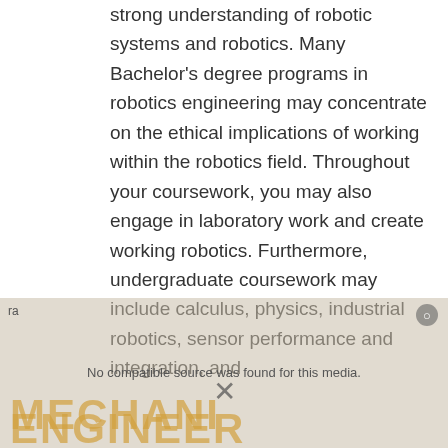strong understanding of robotic systems and robotics. Many Bachelor's degree programs in robotics engineering may concentrate on the ethical implications of working within the robotics field. Throughout your coursework, you may also engage in laboratory work and create working robotics. Furthermore, undergraduate coursework may include calculus, physics, industrial robotics, sensor performance and integration, and
[Figure (other): Video media overlay with error message 'No compatible source was found for this media.' and partially visible background text reading 'MECHANI ENGINEER' in large gold letters, with a close button and X icon.]